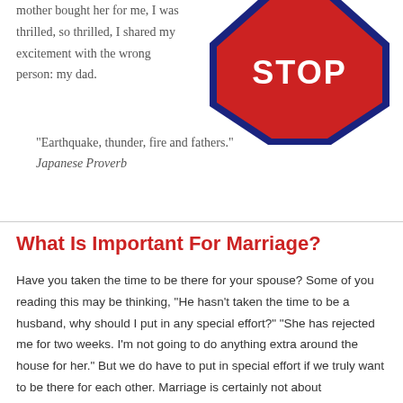mother bought her for me, I was thrilled, so thrilled, I shared my excitement with the wrong person: my dad.
[Figure (illustration): A red stop sign with blue border, partially cropped at top]
“Earthquake, thunder, fire and fathers.”
Japanese Proverb
What Is Important For Marriage?
Have you taken the time to be there for your spouse? Some of you reading this may be thinking, “He hasn’t taken the time to be a husband, why should I put in any special effort?” “She has rejected me for two weeks. I’m not going to do anything extra around the house for her.” But we do have to put in special effort if we truly want to be there for each other. Marriage is certainly not about